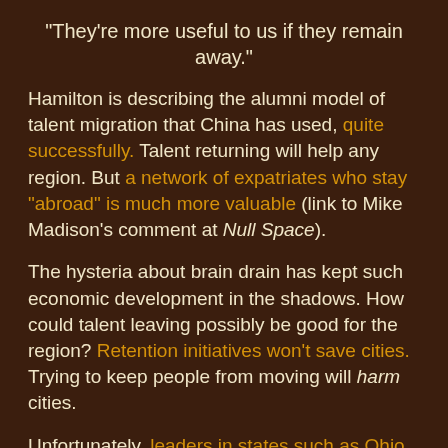"They're more useful to us if they remain away."
Hamilton is describing the alumni model of talent migration that China has used, quite successfully. Talent returning will help any region. But a network of expatriates who stay "abroad" is much more valuable (link to Mike Madison's comment at Null Space).
The hysteria about brain drain has kept such economic development in the shadows. How could talent leaving possibly be good for the region? Retention initiatives won't save cities. Trying to keep people from moving will harm cities.
Unfortunately, leaders in states such as Ohio don't understand talent-based economic development:
But even in Ohio's strongholds, there is cause for alarm. Within three years of graduation, one-third of Ohio's university alums have left the state.